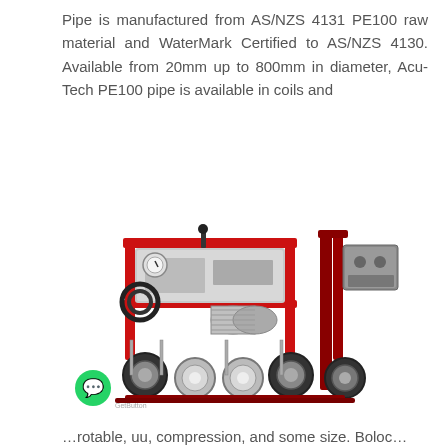Pipe is manufactured from AS/NZS 4131 PE100 raw material and WaterMark Certified to AS/NZS 4130. Available from 20mm up to 800mm in diameter, Acu-Tech PE100 pipe is available in coils and
[Figure (photo): Industrial pipe butt fusion welding machine with red frame, hydraulic system, electric motor, pressure gauge, and multiple pipe clamps/rollers. A green WhatsApp button icon is visible in the lower left of the image.]
…rotable, uu, compression, and some size. Boloc…